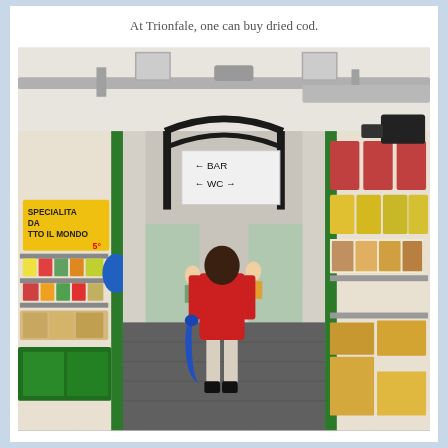At Trionfale, one can buy dried cod.
[Figure (photo): Interior of Trionfale market in Rome. A person in a red t-shirt and white shorts walks away from the camera down the central aisle carrying a blue shopping bag. On the left are shelves stocked with packaged foods. A yellow sign reads 'SPECIALITA DA TUTTO IL MONDO'. Green metal stall dividers frame both sides. In the center background, a white directional sign hangs from an ornate black arched metal structure, indicating 'BAR' to the left and 'WC' with arrows. On the right side are more stalls with packaged goods, oil containers, and cardboard boxes. The market ceiling has exposed ductwork and ventilation equipment.]